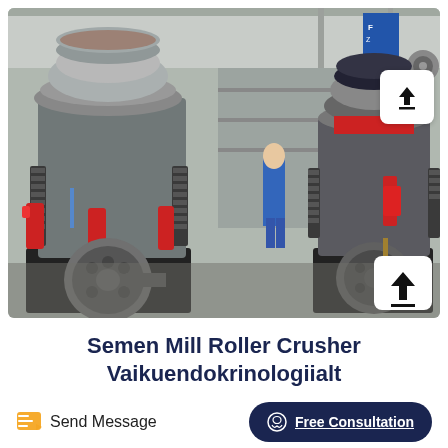[Figure (photo): Two large industrial cone crusher / mill roller crusher machines in a factory/warehouse setting. Left machine is larger with a circular top and heavy base with flywheel. Right machine is similar but smaller with red components. A worker in blue coveralls is visible in the background. Industrial setting with pipes and shelving visible.]
Semen Mill Roller Crusher Vaikuendokrinologiialt
Send Message
Free Consultation